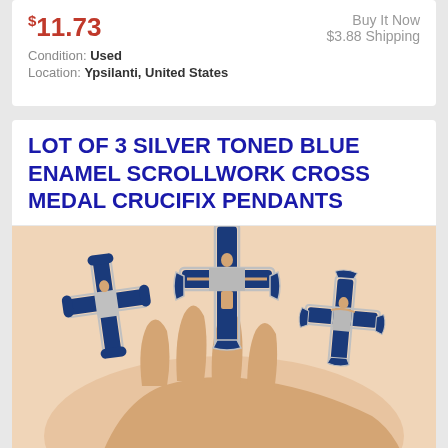$11.73 — Condition: Used — Location: Ypsilanti, United States — Buy It Now — $3.88 Shipping
LOT OF 3 SILVER TONED BLUE ENAMEL SCROLLWORK CROSS MEDAL CRUCIFIX PENDANTS
[Figure (photo): A hand holding three silver-toned blue enamel scrollwork crucifix pendants]
$12.88 — Buy It Now — Free Shipping